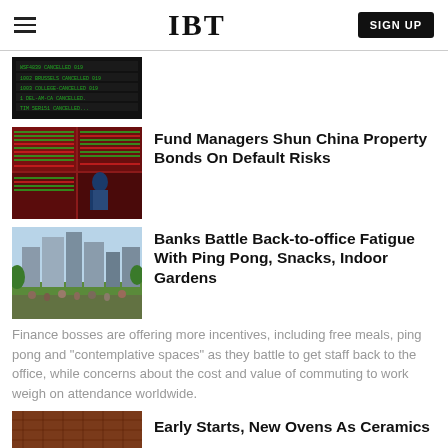IBT  SIGN UP
[Figure (photo): Dark screen showing stock/flight departure board with green and red data rows]
[Figure (photo): Person standing in front of large financial market screens displaying red and green stock trading data]
Fund Managers Shun China Property Bonds On Default Risks
[Figure (photo): Cityscape of London financial district with crowds of people in a park in the foreground]
Banks Battle Back-to-office Fatigue With Ping Pong, Snacks, Indoor Gardens
Finance bosses are offering more incentives, including free meals, ping pong and "contemplative spaces" as they battle to get staff back to the office, while concerns about the cost and value of commuting to work weigh on attendance worldwide.
[Figure (photo): Close-up of ceramic or tiled roofing material in reddish-brown tones]
Early Starts, New Ovens As Ceramics